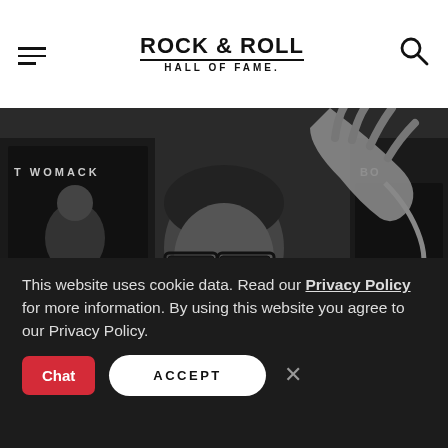ROCK & ROLL HALL OF FAME
[Figure (photo): Black and white photograph of Bobby Womack with glasses, holding up record albums including his own 'Womack' album, hands extended in foreground]
This website uses cookie data. Read our Privacy Policy for more information. By using this website you agree to our Privacy Policy.
Chat   ACCEPT   ×